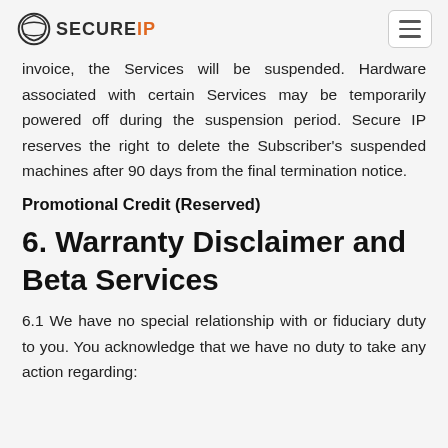SECUREIP
invoice, the Services will be suspended. Hardware associated with certain Services may be temporarily powered off during the suspension period. Secure IP reserves the right to delete the Subscriber's suspended machines after 90 days from the final termination notice.
Promotional Credit (Reserved)
6. Warranty Disclaimer and Beta Services
6.1 We have no special relationship with or fiduciary duty to you. You acknowledge that we have no duty to take any action regarding: